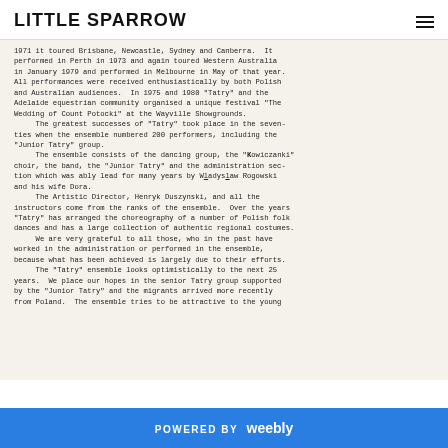LITTLE SPARROW
1971 it toured Brisbane, Newcastle, Sydney and Canberra.  It performed in Perth in 1973 and again toured Western Australia in January 1979 and performed in Melbourne in May of that year. All performances were received enthusiastically by both Polish and Australian audiences.  In 1975 and 1980 "Tatry" and the Adelaide equestrian community organised a unique festival "The Wedding of Count Potocki" at the Wayville Showgrounds.
     The greatest successes of "Tatry" took place in the seventies when the ensemble numbered 200 performers, including the "Junior Tatry" group.
     The ensemble consists of the dancing group, the "Kowiczanki" choir, the band, the "Junior Tatry" and the administration section which was ably lead for many years by Wladyslaw Rogowski and his wife Dora.
     The Artistic Director, Henryk Duszynski, and all the instructors come from the ranks of the ensemble.  Over the years "Tatry" has arranged the choreography of a number of Polish folk dances and has a large collection of authentic regional costumes.
     We are very grateful to all those, who in the past have worked in the administration or performed in the ensemble, because what has been achieved is largely due to their efforts.
     The "Tatry" ensemble looks optimistically to the next 25 years.  We place our hopes in the senior Tatry group supported by the "Junior Tatry" and the migrants arrived more recently from Poland.  The ensemble tries to be attractive to the young
POWERED BY weebly